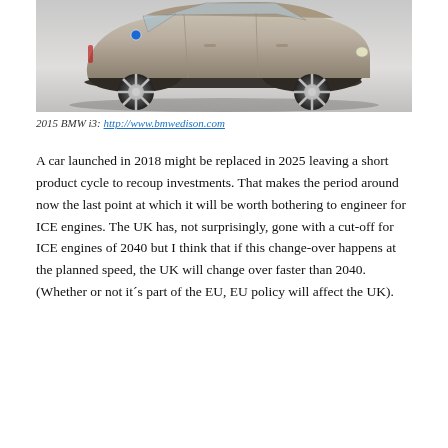[Figure (photo): Side profile of a 2015 BMW i3 electric car in silver/champagne color with distinctive spoke wheels and blue accent stripe]
2015 BMW i3: http://www.bmwedison.com
A car launched in 2018 might be replaced in 2025 leaving a short product cycle to recoup investments. That makes the period around now the last point at which it will be worth bothering to engineer for ICE engines. The UK has, not surprisingly, gone with a cut-off for ICE engines of 2040 but I think that if this change-over happens at the planned speed, the UK will change over faster than 2040. (Whether or not it´s part of the EU, EU policy will affect the UK).